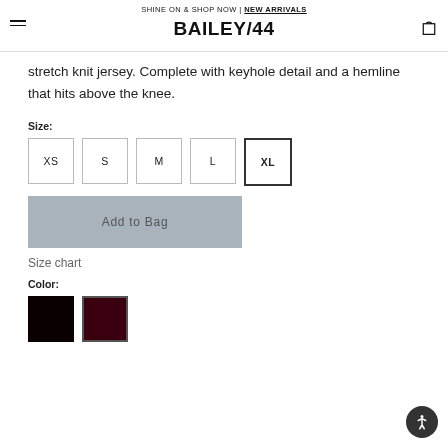SHINE ON & SHOP NOW | NEW ARRIVALS
BAILEY/44
stretch knit jersey. Complete with keyhole detail and a hemline that hits above the knee.
Size: XS S M L XL
Add to Bag
Size chart
Color: